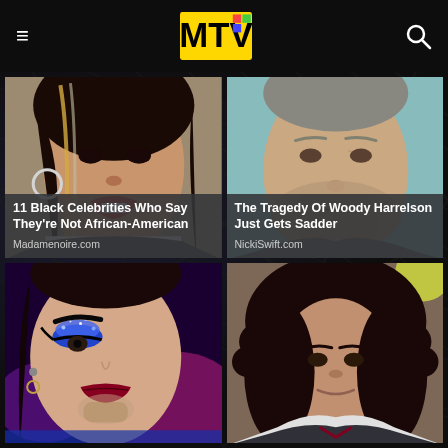MTV (logo)
[Figure (photo): Close-up photo of a woman with long dark hair and highlights, red lips, hoop earring — celebrity photo]
11 Black Celebrities Who Say They're Not African-American
Madamenoire.com
[Figure (photo): Close-up photo of an older white man with short gray hair and stubble, against a teal/blue background — Woody Harrelson]
The Tragedy Of Woody Harrelson Just Gets Sadder
NickiSwift.com
[Figure (photo): Close-up photo of a man wearing dramatic blue glitter eye makeup, stud earring and small hoop earring — Adam Lambert]
[Figure (photo): Photo of a young woman with curly dark hair wearing a school uniform — appears to be from a TV show]